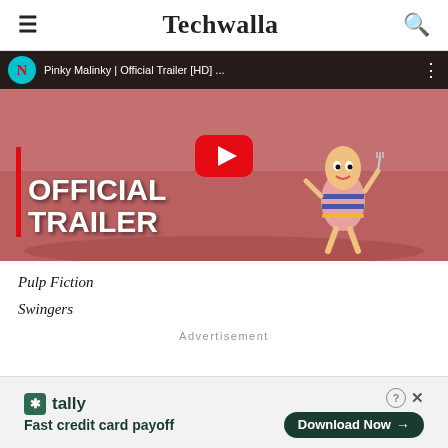Techwalla
[Figure (screenshot): YouTube video thumbnail for 'Pinky Malinky | Official Trailer [HD] ...' showing Netflix logo, cartoon character, and OFFICIAL TRAILER text overlay with YouTube play button]
Pulp Fiction
Swingers
Advertisement
[Figure (other): Tally app advertisement banner: Fast credit card payoff, with Download Now button]